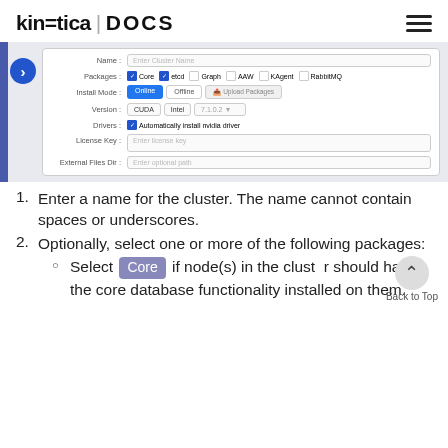kinetica | DOCS
[Figure (screenshot): Kinetica cluster configuration form showing Name field, Packages checkboxes (Core, etcd, Graph, AAW, KAgent, RabbitMQ), Install Mode buttons (Online, Offline, Upload Packages), Version fields (CUDA, Intel, 7.1.0.2), Drivers checkbox (Automatically install nvidia driver), License Key textarea, and External Files Dir field.]
Enter a name for the cluster. The name cannot contain spaces or underscores.
Optionally, select one or more of the following packages:
Select Core if node(s) in the cluster should have the core database functionality installed on them.